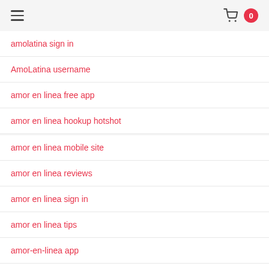Menu | Cart 0
amolatina sign in
AmoLatina username
amor en linea free app
amor en linea hookup hotshot
amor en linea mobile site
amor en linea reviews
amor en linea sign in
amor en linea tips
amor-en-linea app
amor-en-linea dating
amor-en-linea mobile site